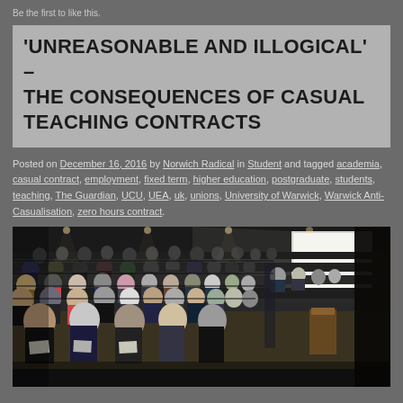Be the first to like this.
'UNREASONABLE AND ILLOGICAL' – THE CONSEQUENCES OF CASUAL TEACHING CONTRACTS
Posted on December 16, 2016 by Norwich Radical in Student and tagged academia, casual contract, employment, fixed term, higher education, postgraduate, students, teaching, The Guardian, UCU, UEA, uk, unions, University of Warwick, Warwick Anti-Casualisation, zero hours contract.
[Figure (photo): Photograph of a large university lecture hall filled with students seated in tiered rows, facing a screen and lecturer at the front of the room.]